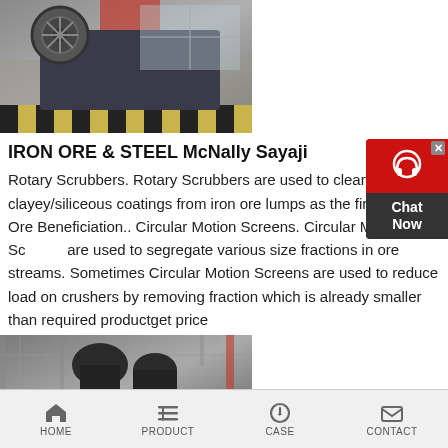[Figure (photo): Industrial jaw crusher machine in a factory/warehouse setting, large flywheel visible, yellow and black safety markings on floor]
IRON ORE & STEEL McNally Sayaji
Rotary Scrubbers. Rotary Scrubbers are used to clean clayey/siliceous coatings from iron ore lumps as the first stage of Ore Beneficiation.. Circular Motion Screens. Circular Motion Screens are used to segregate various size fractions in ore streams. Sometimes Circular Motion Screens are used to reduce load on crushers by removing fraction which is already smaller than required productget price
[Figure (photo): Industrial dust collector or cyclone separator equipment inside a factory with steel framework visible]
[Figure (other): Live chat widget with red top section showing headset icon, dark bottom section with Chat Now text and X close button]